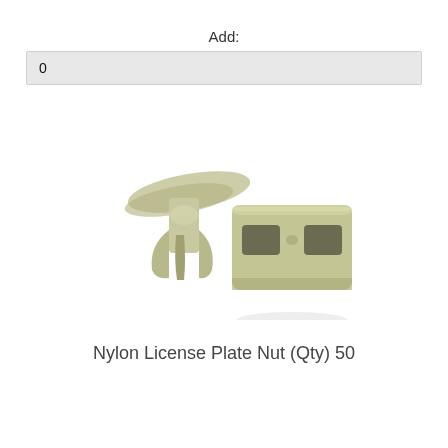Add:
0
[Figure (photo): Two nylon license plate nuts/clips shown from different angles — one clip-style insert viewed from the side and one rectangular frame-style nut viewed from the front, both in an olive/cream-colored nylon material.]
Nylon License Plate Nut (Qty) 50